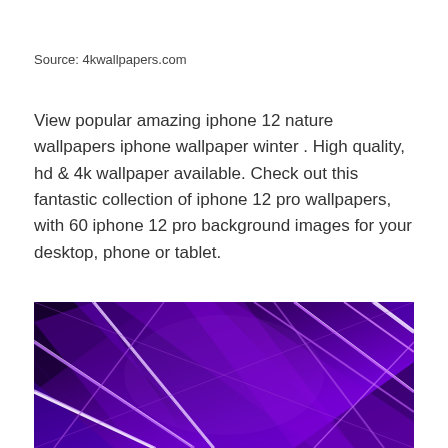Source: 4kwallpapers.com
View popular amazing iphone 12 nature wallpapers iphone wallpaper winter . High quality, hd & 4k wallpaper available. Check out this fantastic collection of iphone 12 pro wallpapers, with 60 iphone 12 pro background images for your desktop, phone or tablet.
[Figure (photo): Abstract purple neon geometric wallpaper with diagonal lines and glowing light streaks on a dark background, representing an iPhone 12 Pro wallpaper.]